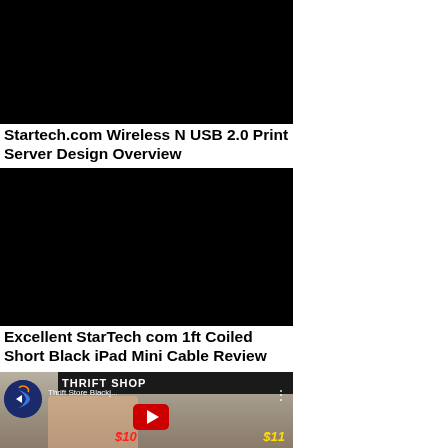[Figure (screenshot): Black video thumbnail for Startech.com Wireless N USB 2.0 Print Server Design Overview]
Startech.com Wireless N USB 2.0 Print Server Design Overview
[Figure (screenshot): Black video thumbnail for Excellent StarTech com 1ft Coiled Short Black iPad Mini Cable Review]
Excellent StarTech com 1ft Coiled Short Black iPad Mini Cable Review
[Figure (screenshot): YouTube video thumbnail showing Thrift Store Blackj... with a person's face, price signs $10 and $11, and a YouTube play button]